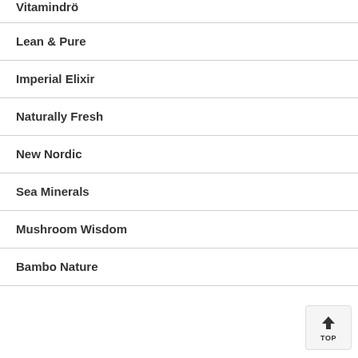Vitamindrö
Lean & Pure
Imperial Elixir
Naturally Fresh
New Nordic
Sea Minerals
Mushroom Wisdom
Bambo Nature